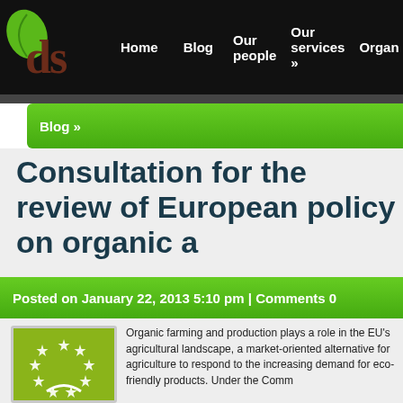ds | Home | Blog | Our people | Our services » | Organ
Blog »
Consultation for the review of European policy on organic a
Posted on January 22, 2013 5:10 pm | Comments 0
[Figure (logo): EU organic farming logo - green leaf with white stars on olive/green background]
Organic farming and production plays a role in the EU's agricultural landscape, a market-oriented alternative for agri... to respond to the increasing demand for eco-friendly products. Under the Comm...